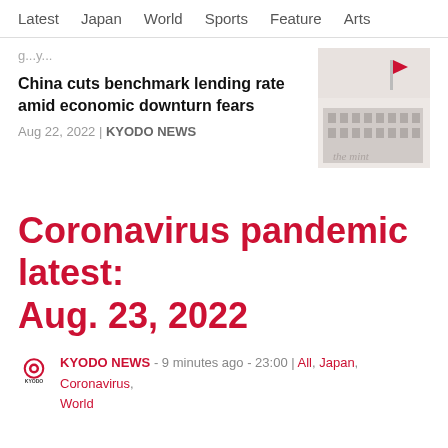Latest  Japan  World  Sports  Feature  Arts
g...y...
China cuts benchmark lending rate amid economic downturn fears
Aug 22, 2022 | KYODO NEWS
[Figure (photo): Thumbnail image showing a flag and a building exterior]
Coronavirus pandemic latest: Aug. 23, 2022
KYODO NEWS - 9 minutes ago - 23:00 | All, Japan, Coronavirus, World